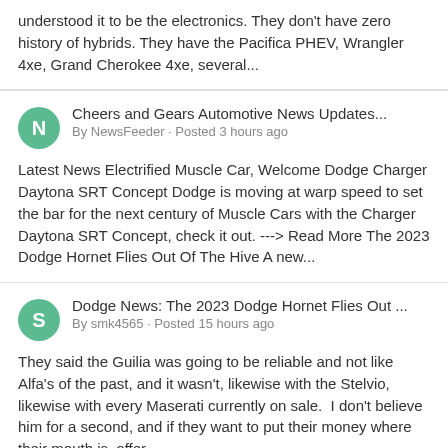understood it to be the electronics. They don't have zero history of hybrids. They have the Pacifica PHEV, Wrangler 4xe, Grand Cherokee 4xe, several...
Cheers and Gears Automotive News Updates...
By NewsFeeder · Posted 3 hours ago

Latest News Electrified Muscle Car, Welcome Dodge Charger Daytona SRT Concept Dodge is moving at warp speed to set the bar for the next century of Muscle Cars with the Charger Daytona SRT Concept, check it out. ---> Read More The 2023 Dodge Hornet Flies Out Of The Hive A new...
Dodge News: The 2023 Dodge Hornet Flies Out ...
By smk4565 · Posted 15 hours ago

They said the Guilia was going to be reliable and not like Alfa's of the past, and it wasn't, likewise with the Stelvio, likewise with every Maserati currently on sale.  I don't believe him for a second, and if they want to put their money where their mouth is, offer